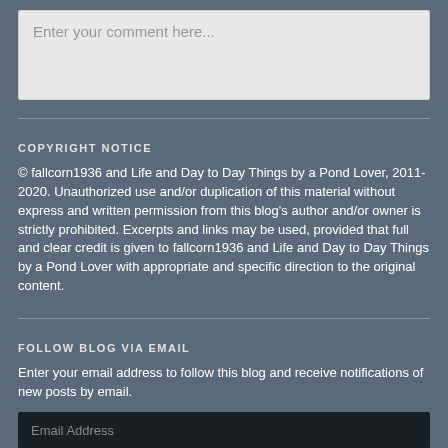Enter your comment here...
COPYRIGHT NOTICE
© fallcorn1936 and Life and Day to Day Things by a Pond Lover, 2011-2020. Unauthorized use and/or duplication of this material without express and written permission from this blog's author and/or owner is strictly prohibited. Excerpts and links may be used, provided that full and clear credit is given to fallcorn1936 and Life and Day to Day Things by a Pond Lover with appropriate and specific direction to the original content.
FOLLOW BLOG VIA EMAIL
Enter your email address to follow this blog and receive notifications of new posts by email.
Email Address
Follow